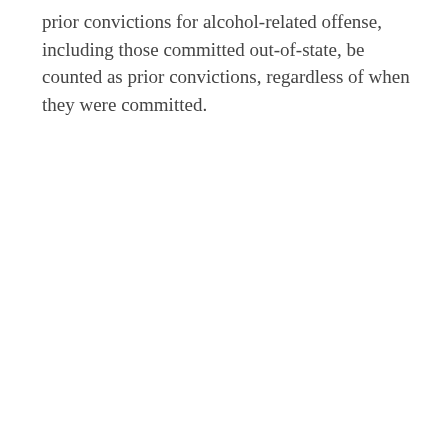prior convictions for alcohol-related offense, including those committed out-of-state, be counted as prior convictions, regardless of when they were committed.